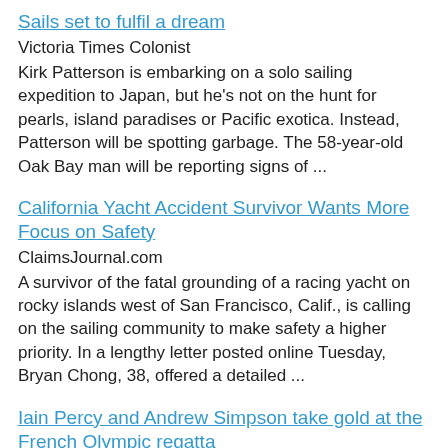Sails set to fulfil a dream
Victoria Times Colonist
Kirk Patterson is embarking on a solo sailing expedition to Japan, but he's not on the hunt for pearls, island paradises or Pacific exotica. Instead, Patterson will be spotting garbage. The 58-year-old Oak Bay man will be reporting signs of ...
California Yacht Accident Survivor Wants More Focus on Safety
ClaimsJournal.com
A survivor of the fatal grounding of a racing yacht on rocky islands west of San Francisco, Calif., is calling on the sailing community to make safety a higher priority. In a lengthy letter posted online Tuesday, Bryan Chong, 38, offered a detailed ...
Iain Percy and Andrew Simpson take gold at the French Olympic regatta
The Independent
“Iain did a great job and after we managed to get into the lead we sailed pretty conservatively,” said Simpson. The pair